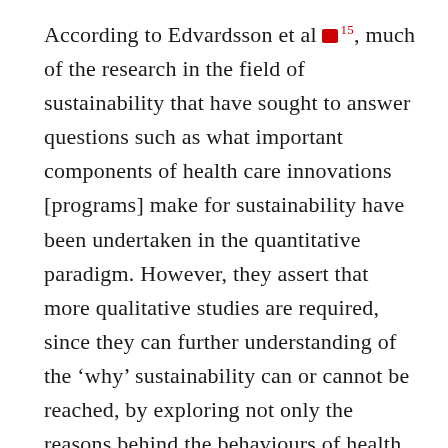According to Edvardsson et al [15], much of the research in the field of sustainability that have sought to answer questions such as what important components of health care innovations [programs] make for sustainability have been undertaken in the quantitative paradigm. However, they assert that more qualitative studies are required, since they can further understanding of the 'why' sustainability can or cannot be reached, by exploring not only the reasons behind the behaviours of health professionals alone, but indeed of all relevant stakeholders [15, 16]. The diversity of stakeholders in health ranging